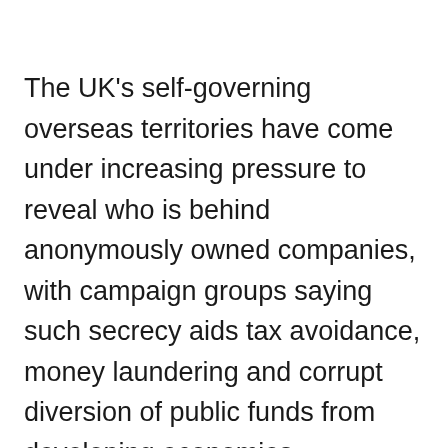The UK's self-governing overseas territories have come under increasing pressure to reveal who is behind anonymously owned companies, with campaign groups saying such secrecy aids tax avoidance, money laundering and corrupt diversion of public funds from developing economies.